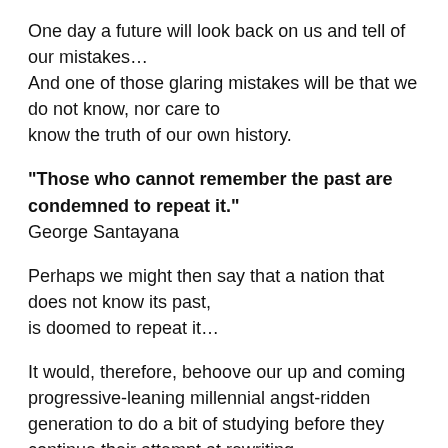One day a future will look back on us and tell of our mistakes…
And one of those glaring mistakes will be that we do not know, nor care to
know the truth of our own history.
“Those who cannot remember the past are condemned to repeat it.”
George Santayana
Perhaps we might then say that a nation that does not know its past,
is doomed to repeat it…
It would, therefore, behoove our up and coming progressive-leaning millennial angst-ridden generation to do a bit of studying before they continue their attempt at rewriting…